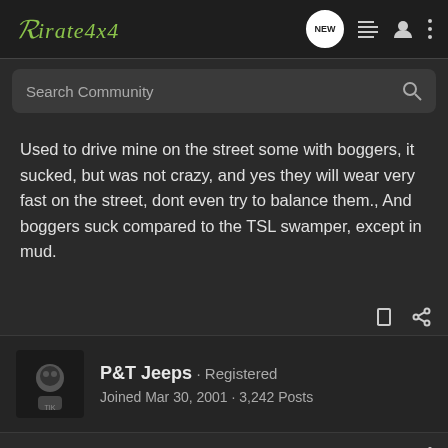Pirate4x4
Used to drive mine on the street some with boggers, it sucked, but was not crazy, and yes they will wear very fast on the street, dont even try to balance them., And boggers suck compared to the TSL swamper, except in mud.
P&T Jeeps · Registered
Joined Mar 30, 2001 · 3,242 Posts
#14 · Feb 9, 2003
actually, that is "T's" Jeep of P&T. The Boggers he has strapped